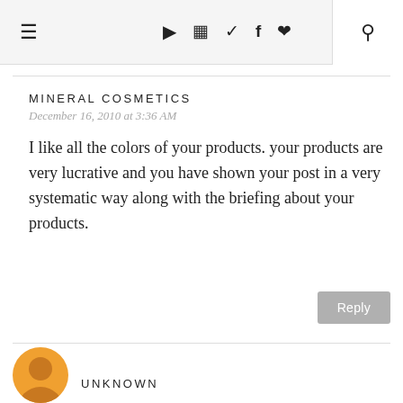≡  ▶  📷  🐦  f  ♥  🔍
MINERAL COSMETICS
December 16, 2010 at 3:36 AM
I like all the colors of your products. your products are very lucrative and you have shown your post in a very systematic way along with the briefing about your products.
Reply
UNKNOWN